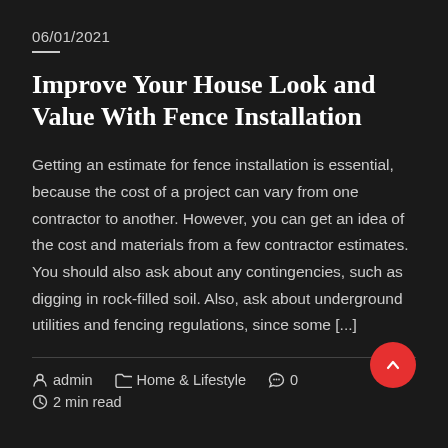06/01/2021
Improve Your House Look and Value With Fence Installation
Getting an estimate for fence installation is essential, because the cost of a project can vary from one contractor to another. However, you can get an idea of the cost and materials from a few contractor estimates. You should also ask about any contingencies, such as digging in rock-filled soil. Also, ask about underground utilities and fencing regulations, since some [...]
admin   Home & Lifestyle   0   2 min read